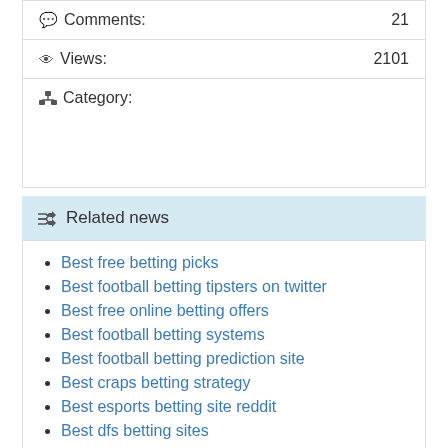Comments: 21
Views: 2101
Category:
Related news
Best free betting picks
Best football betting tipsters on twitter
Best free online betting offers
Best football betting systems
Best football betting prediction site
Best craps betting strategy
Best esports betting site reddit
Best dfs betting sites
Best dota 2 item betting site